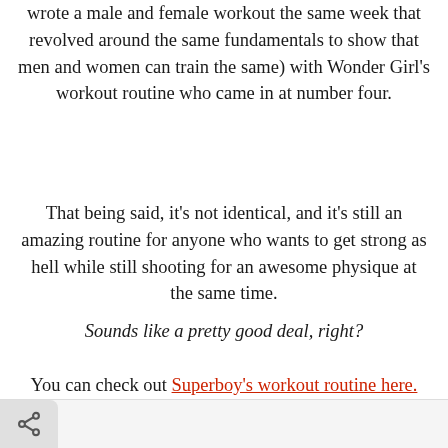wrote a male and female workout the same week that revolved around the same fundamentals to show that men and women can train the same) with Wonder Girl's workout routine who came in at number four.
That being said, it's not identical, and it's still an amazing routine for anyone who wants to get strong as hell while still shooting for an awesome physique at the same time.
Sounds like a pretty good deal, right?
You can check out Superboy's workout routine here.